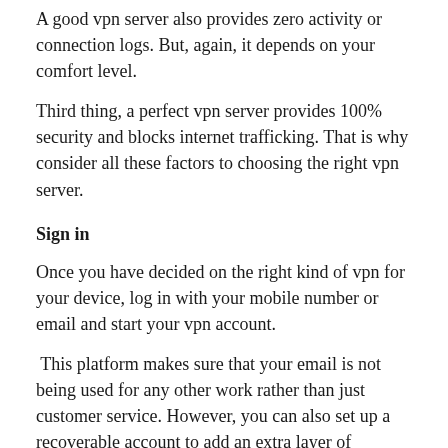A good vpn server also provides zero activity or connection logs. But, again, it depends on your comfort level.
Third thing, a perfect vpn server provides 100% security and blocks internet trafficking. That is why consider all these factors to choosing the right vpn server.
Sign in
Once you have decided on the right kind of vpn for your device, log in with your mobile number or email and start your vpn account.
This platform makes sure that your email is not being used for any other work rather than just customer service. However, you can also set up a recoverable account to add an extra layer of privacy.
While signing up, you can use standard payment options like credit and debit cards or PayPal, in addition, some of